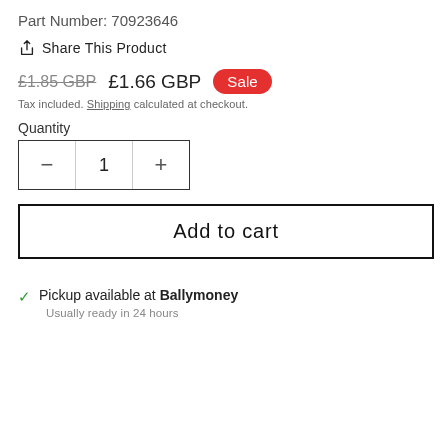Part Number: 70923646
Share This Product
£1.85 GBP  £1.66 GBP  Sale
Tax included. Shipping calculated at checkout.
Quantity
- 1 +
Add to cart
Pickup available at Ballymoney
Usually ready in 24 hours